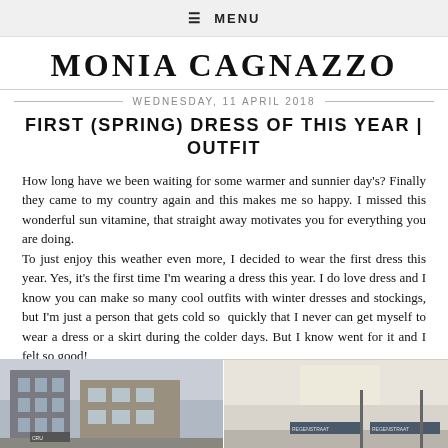≡ MENU
MONIA CAGNAZZO
WEDNESDAY, 11 APRIL 2018
FIRST (SPRING) DRESS OF THIS YEAR | OUTFIT
How long have we been waiting for some warmer and sunnier day's? Finally they came to my country again and this makes me so happy. I missed this wonderful sun vitamine, that straight away motivates you for everything you are doing.
To just enjoy this weather even more, I decided to wear the first dress this year. Yes, it's the first time I'm wearing a dress this year. I do love dress and I know you can make so many cool outfits with winter dresses and stockings, but I'm just a person that gets cold so  quickly that I never can get myself to wear a dress or a skirt during the colder days. But I know went for it and I felt so good!
[Figure (photo): Two side-by-side street photos showing an outdoor scene with buildings and signs]